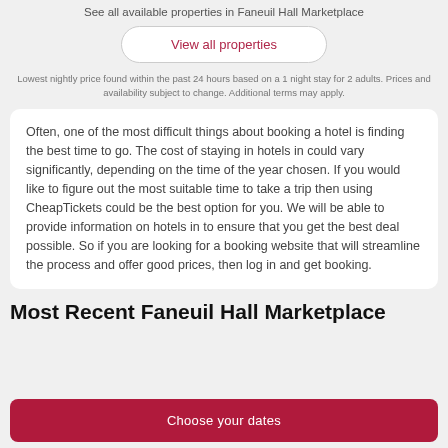See all available properties in Faneuil Hall Marketplace
View all properties
Lowest nightly price found within the past 24 hours based on a 1 night stay for 2 adults. Prices and availability subject to change. Additional terms may apply.
Often, one of the most difficult things about booking a hotel is finding the best time to go. The cost of staying in hotels in could vary significantly, depending on the time of the year chosen. If you would like to figure out the most suitable time to take a trip then using CheapTickets could be the best option for you. We will be able to provide information on hotels in to ensure that you get the best deal possible. So if you are looking for a booking website that will streamline the process and offer good prices, then log in and get booking.
Most Recent Faneuil Hall Marketplace
Choose your dates